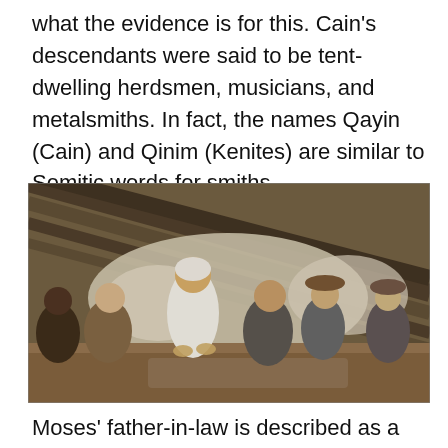what the evidence is for this. Cain's descendants were said to be tent-dwelling herdsmen, musicians, and metalsmiths. In fact, the names Qayin (Cain) and Qinim (Kenites) are similar to Semitic words for smiths.
[Figure (photo): A painting depicting Moses or a biblical figure seated among a group of people inside a tent, with a draped ceiling. Figures in robes and head coverings are gathered in discussion.]
Moses' father-in-law is described as a Kenite as well as a Midianite, giving context to the association in the...